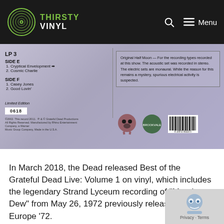THIRSTY VINYL — Menu
[Figure (photo): Back cover of a Grateful Dead vinyl record (Best of the Grateful Dead Live). Shows LP 3, Side E tracks: 1. Cryptical Envelopment, 2. Cosmic Charlie; Side F tracks: 1. Casey Jones, 2. Good Lovin'. Text box on right describes recording details. Limited Edition numbered 0618. Barcode and Grateful Dead logos visible.]
In March 2018, the Dead released Best of the Grateful Dead Live: Volume 1 on vinyl, which includes the legendary Strand Lyceum recording of "Morning Dew" from May 26, 1972 previously released on Europe '72.